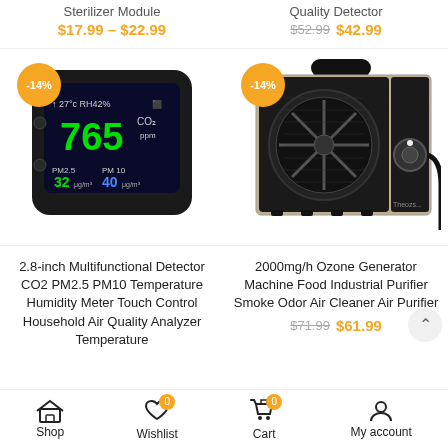Sterilizer Module — $17.99 – $22.99
Quality Detector — $52.99 $42.99
[Figure (photo): Air quality detector device showing CO2 reading 765, PM2.5 32, PM10 40, temperature 27°C, humidity RH42%, with -14% discount badge]
[Figure (photo): 2000mg/h Ozone Generator machine, metallic box with large fan grille, with -14% discount badge]
2.8-inch Multifunctional Detector CO2 PM2.5 PM10 Temperature Humidity Meter Touch Control Household Air Quality Analyzer Temperature
2000mg/h Ozone Generator Machine Food Industrial Purifier Smoke Odor Air Cleaner Air Purifier
$71.99  $61.99
Shop   Wishlist 0   Cart 0   My account